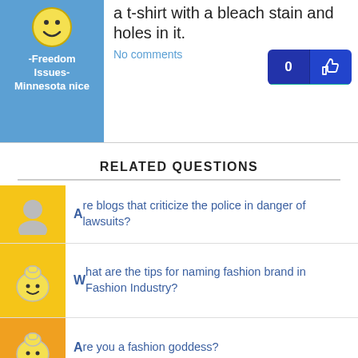[Figure (screenshot): Blue user avatar block with username '-Freedom Issues- Minnesota nice' and smiley icon on top]
a t-shirt with a bleach stain and holes in it.
No comments
[Figure (screenshot): Dark blue like button showing 0 count and thumbs up icon]
RELATED QUESTIONS
Are blogs that criticize the police in danger of lawsuits?
What are the tips for naming fashion brand in Fashion Industry?
Are you a fashion goddess?
Whats the worst fashion phase in